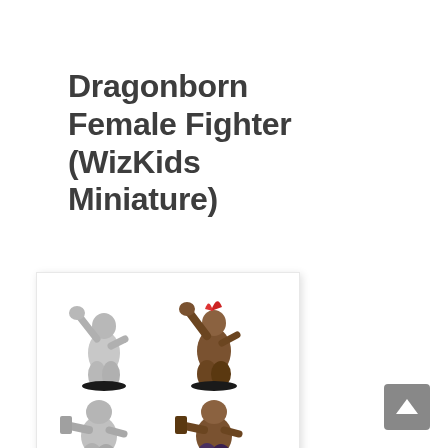Dragonborn Female Fighter (WizKids Miniature)
[Figure (photo): Four WizKids miniature figurines of a Dragonborn Female Fighter shown in a 2x2 grid. Top row: unpainted gray plastic version (left) and painted brown version (right), both in an action pose raising an arm. Bottom row: same two poses shown from a lower angle or different variant, with the left being unpainted and the right being painted in brown tones. All figures stand on small black bases.]